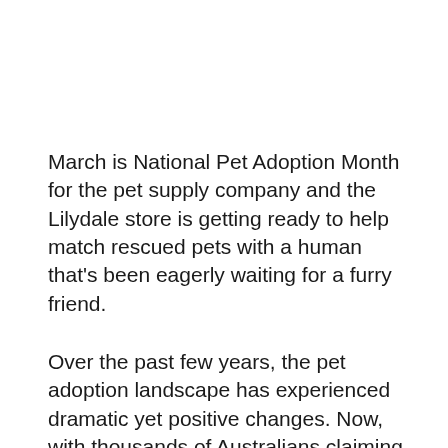March is National Pet Adoption Month for the pet supply company and the Lilydale store is getting ready to help match rescued pets with a human that's been eagerly waiting for a furry friend.
Over the past few years, the pet adoption landscape has experienced dramatic yet positive changes. Now, with thousands of Australians claiming the pet parent title, the industry is facing new challenges, where thousands of cats and kittens remain homeless.
The initiative led by PETstock Assist has helped keep pets